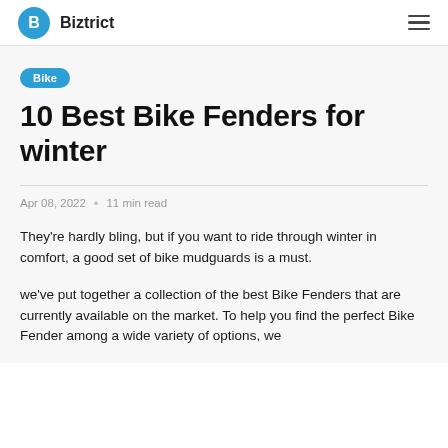Biztrict
Bike
10 Best Bike Fenders for winter
Apr 08, 2022 • 11 min read
They're hardly bling, but if you want to ride through winter in comfort, a good set of bike mudguards is a must.
we've put together a collection of the best Bike Fenders that are currently available on the market. To help you find the perfect Bike Fender among a wide variety of options, we